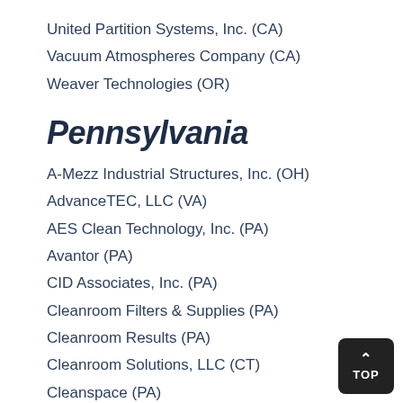United Partition Systems, Inc. (CA)
Vacuum Atmospheres Company (CA)
Weaver Technologies (OR)
Pennsylvania
A-Mezz Industrial Structures, Inc. (OH)
AdvanceTEC, LLC (VA)
AES Clean Technology, Inc. (PA)
Avantor (PA)
CID Associates, Inc. (PA)
Cleanroom Filters & Supplies (PA)
Cleanroom Results (PA)
Cleanroom Solutions, LLC (CT)
Cleanspace (PA)
DRS (OH)